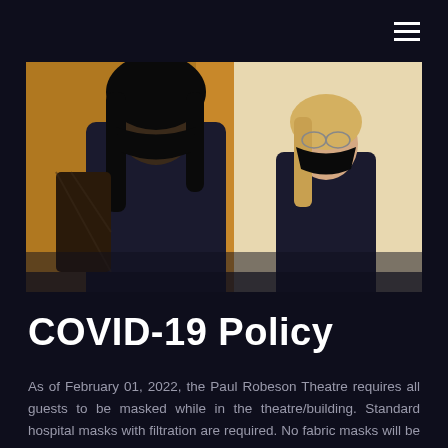☰ (hamburger menu icon)
[Figure (photo): Two people wearing black face masks standing near wooden pillars, facing each other in conversation inside a theatre/building. Both are dressed in black clothing.]
COVID-19 Policy
As of February 01, 2022, the Paul Robeson Theatre requires all guests to be masked while in the theatre/building. Standard hospital masks with filtration are required. No fabric masks will be permitted.
While performers may be unmasked on stage, all theatre staff, technicians and ushers are